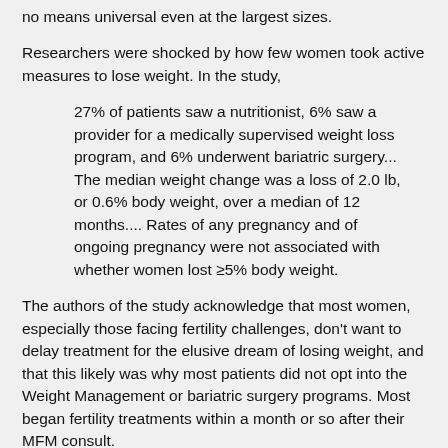no means universal even at the largest sizes.
Researchers were shocked by how few women took active measures to lose weight. In the study,
27% of patients saw a nutritionist, 6% saw a provider for a medically supervised weight loss program, and 6% underwent bariatric surgery... The median weight change was a loss of 2.0 lb, or 0.6% body weight, over a median of 12 months.... Rates of any pregnancy and of ongoing pregnancy were not associated with whether women lost ≥5% body weight.
The authors of the study acknowledge that most women, especially those facing fertility challenges, don't want to delay treatment for the elusive dream of losing weight, and that this likely was why most patients did not opt into the Weight Management or bariatric surgery programs. Most began fertility treatments within a month or so after their MFM consult.